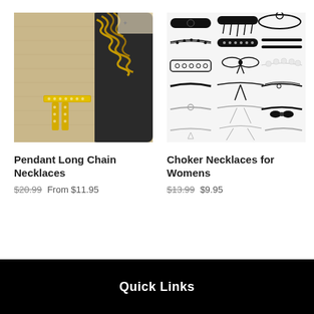[Figure (photo): Photo of a gold pendant letter T necklace with thick chain on dark background]
Pendant Long Chain Necklaces
$20.99 From $11.95
[Figure (photo): Collage of multiple black choker necklaces and bracelets on white background]
Choker Necklaces for Womens
$13.99 $9.95
Quick Links